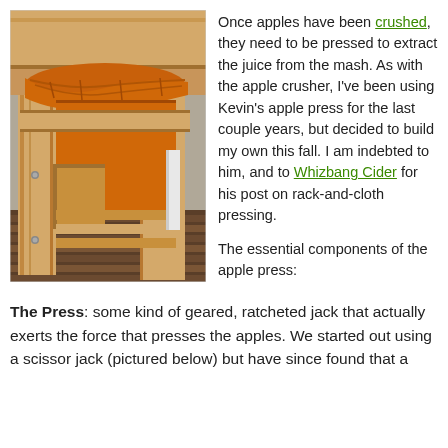[Figure (photo): Close-up photo of a wooden apple press showing light-colored pine lumber frame construction, orange-colored pressing cloth or bag visible between boards, shot from above at an angle, with a dark wood deck in the background.]
Once apples have been crushed, they need to be pressed to extract the juice from the mash.  As with the apple crusher, I've been using Kevin's apple press for the last couple years, but decided to build my own this fall.  I am indebted to him, and to Whizbang Cider for his post on rack-and-cloth pressing.

The essential components of the apple press:
The Press: some kind of geared, ratcheted jack that actually exerts the force that presses the apples.  We started out using a scissor jack (pictured below) but have since found that a